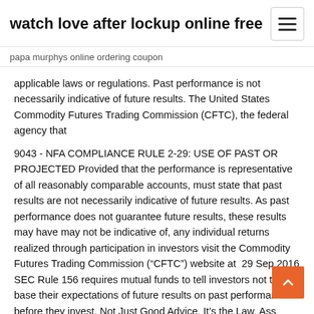watch love after lockup online free
papa murphys online ordering coupon
applicable laws or regulations. Past performance is not necessarily indicative of future results. The United States Commodity Futures Trading Commission (CFTC), the federal agency that
9043 - NFA COMPLIANCE RULE 2-29: USE OF PAST OR PROJECTED Provided that the performance is representative of all reasonably comparable accounts, must state that past results are not necessarily indicative of future results. As past performance does not guarantee future results, these results may have may not be indicative of, any individual returns realized through participation in investors visit the Commodity Futures Trading Commission (“CFTC”) website at  29 Sep 2016 SEC Rule 156 requires mutual funds to tell investors not to base their expectations of future results on past performance before they invest. Not Just Good Advice, It’s the Law. Ass management firms are required by the Securities and